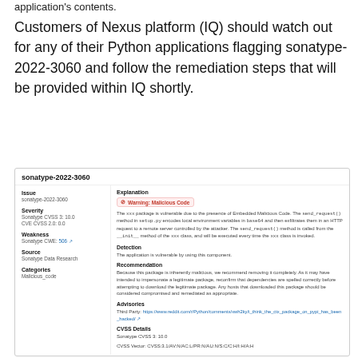application's contents.
Customers of Nexus platform (IQ) should watch out for any of their Python applications flagging sonatype-2022-3060 and follow the remediation steps that will be provided within IQ shortly.
| sonatype-2022-3060 |
| --- |
| Issue | Explanation |
| sonatype-2022-3060 | Warning: Malicious Code |
|  | The xxx package is vulnerable due to the presence of Embedded Malicious Code. The send_request() method in setup.py encodes local environment variables in base64 and then exfiltrates them in an HTTP request to a remote server controlled by the attacker. The send_request() method is called from the __init__ method of the xxx class, and will be executed every time the xxx class is invoked. |
| Severity | Detection |
| Sonatype CVSS 3: 10.0
CVE CVSS 2.0: 0.0 | The application is vulnerable by using this component. |
| Weakness | Recommendation |
| Sonatype CWE: 506 | Because this package is inherently malicious, we recommend removing it completely. As it may have intended to impersonate a legitimate package, reconfirm that dependencies are spelled correctly before attempting to download the legitimate package. Any hosts that downloaded this package should be considered compromised and remediated as appropriate. |
| Source | Advisories |
| Sonatype Data Research | Third Party: https://www.reddit.com/r/Python/comments/xwh2kyi_think_the_ctx_package_on_pypi_has_been_hacked/ |
| Categories | CVSS Details |
| Malicious_code | Sonatype CVSS 3: 10.0
CVSS Vector: CVSS:3.1/AV:N/AC:L/PR:N/AU:N/S:C/C:H/I:H/A:H |